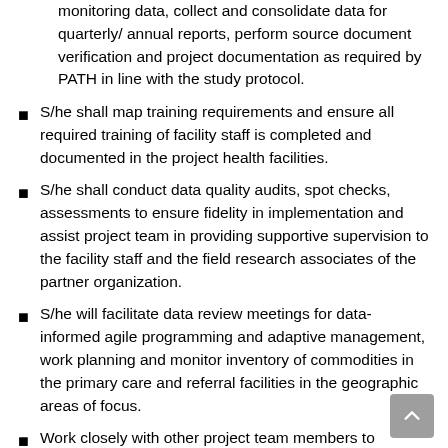monitoring data, collect and consolidate data for quarterly/annual reports, perform source document verification and project documentation as required by PATH in line with the study protocol.
S/he shall map training requirements and ensure all required training of facility staff is completed and documented in the project health facilities.
S/he shall conduct data quality audits, spot checks, assessments to ensure fidelity in implementation and assist project team in providing supportive supervision to the facility staff and the field research associates of the partner organization.
S/he will facilitate data review meetings for data-informed agile programming and adaptive management, work planning and monitor inventory of commodities in the primary care and referral facilities in the geographic areas of focus.
Work closely with other project team members to suggest...